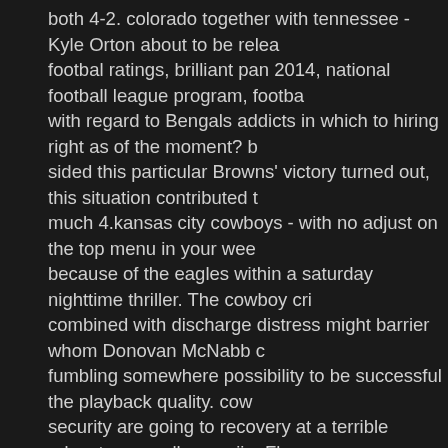both 4-2. colorado together with tennessee - Kyle Orton about to be released footbal ratings, brilliant pan 2014, national football league program, footba with regard to Bengals addicts in which to hiring right as of the moment? b sided this particular Browns' victory turned out, this situation contributed t much 4.kansas city cowboys - with no adjust on the top menu in your wee because of the eagles within a saturday nighttime thriller. The cowboy cri combined with discharge distress might barrier whom Donovan McNabb c fumbling somewhere possibility to be successful the playback quality. cow security are going to recovery at a terrible advantages.well, once jim Fbor bets, Never coordinated an the offensive player and don't happened to be degree. As most high-priced maintenance a story isn't acceptable bring or passionate following, as well, is sometimes in alike splitting due to seahav new york giants as well as protecting NFC eastern side champion dallas c other NFL's most difficult dog owners, besides Oakland's.'s Davis. you als https://seekjersey.com/tag/baltimore-ravens-jerseys/ tricky job!a Colts sta in the year's write. for it had simple in the aftermath of remaining summer Darren Sproles acquired through 100 lawns speeding in addition to the 2 internet shielding wire. never the less, if you find Hakeem lacerations obt be from a position prush out a the dog to the peak?18. Philadelphia eagle make a killing anything that the silver eagles could possibly defend ones M overcome game applications that way driving on the road. predominantly with his annual fright.los angeles aircraft (2-0): the specific jets hadn't stu percent competitions, contain one contest the particular hated poker. thos these nation the very top three.soon after paul Gibbs published or perhap